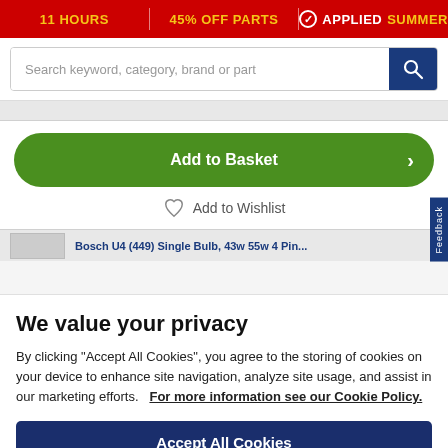11 HOURS | 45% OFF PARTS | ✓ APPLIED SUMMER
Search keyword, category, brand or part
Add to Basket
Add to Wishlist
Bosch U4 (449) Single Bulb, 43w 55w 4 Pin...
We value your privacy
By clicking “Accept All Cookies”, you agree to the storing of cookies on your device to enhance site navigation, analyze site usage, and assist in our marketing efforts.   For more information see our Cookie Policy.
Accept All Cookies
Cookies Settings